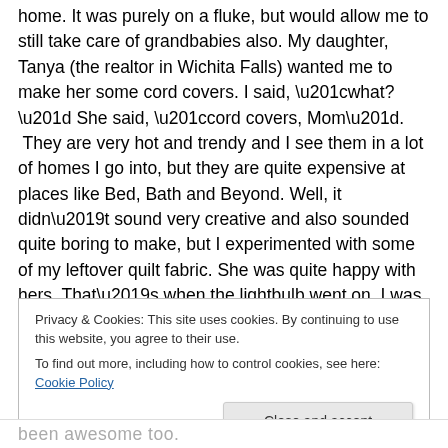home.  It was purely on a fluke, but would allow me to still take care of grandbabies also.  My daughter, Tanya (the realtor in Wichita Falls) wanted me to make her some cord covers.  I said, “what?”  She said, “cord covers, Mom”.  They are very hot and trendy and I see them in a lot of homes I go into, but they are quite expensive at places like Bed, Bath and Beyond.  Well, it didn’t sound very creative and also sounded quite boring to make, but I experimented with some of my leftover quilt fabric.  She was quite happy with hers.  That’s when the lightbulb went on.  I was already on E-bay and Etsy but with mediocre
Privacy & Cookies: This site uses cookies. By continuing to use this website, you agree to their use.
To find out more, including how to control cookies, see here: Cookie Policy
Close and accept